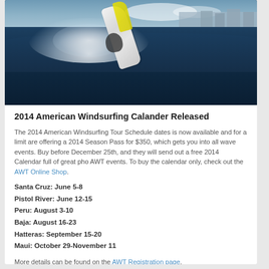[Figure (photo): Action photo of a windsurfer airborne above a large dark ocean wave, with buildings visible in the background on the right side and spray/whitewater visible.]
2014 American Windsurfing Calander Released
The 2014 American Windsurfing Tour Schedule dates is now available and for a limit are offering a 2014 Season Pass for $350, which gets you into all wave events. Buy before December 25th, and they will send out a free 2014 Calendar full of great pho AWT events. To buy the calendar only, check out the AWT Online Shop.
Santa Cruz: June 5-8
Pistol River: June 12-15
Peru: August 3-10
Baja: August 16-23
Hatteras: September 15-20
Maui: October 29-November 11
More details can be found on the AWT Registration page.